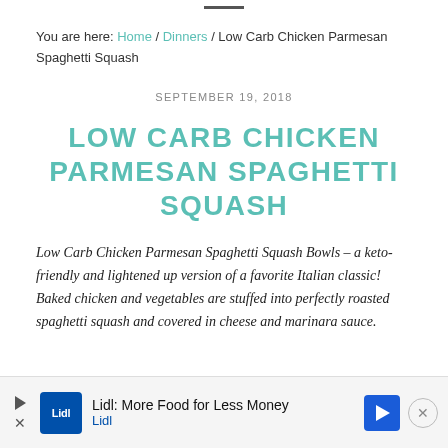—
You are here: Home / Dinners / Low Carb Chicken Parmesan Spaghetti Squash
SEPTEMBER 19, 2018
LOW CARB CHICKEN PARMESAN SPAGHETTI SQUASH
Low Carb Chicken Parmesan Spaghetti Squash Bowls – a keto-friendly and lightened up version of a favorite Italian classic! Baked chicken and vegetables are stuffed into perfectly roasted spaghetti squash and covered in cheese and marinara sauce.
[Figure (other): Advertisement banner: Lidl: More Food for Less Money — Lidl logo and navigation arrow icon]